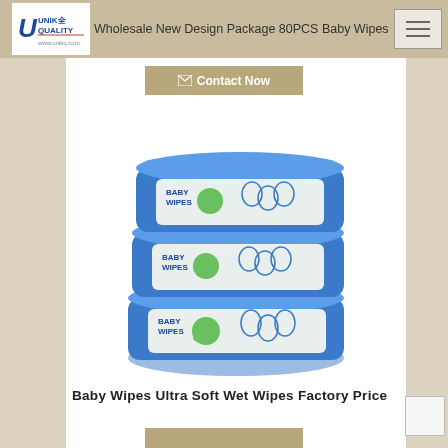Wholesale New Design Package 80PCS Baby Wipes
[Figure (photo): Three stacked packages of blue Baby Wipes with green elephant cartoon graphics on white label panels]
Baby Wipes Ultra Soft Wet Wipes Factory Price